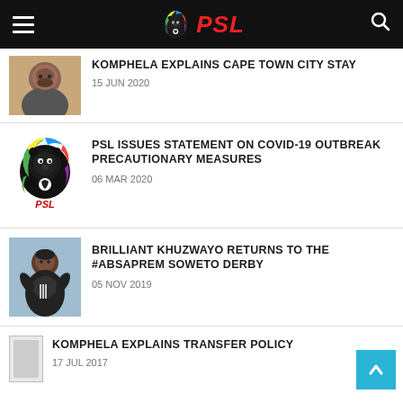PSL
KOMPHELA EXPLAINS CAPE TOWN CITY STAY
15 JUN 2020
PSL ISSUES STATEMENT ON COVID-19 OUTBREAK PRECAUTIONARY MEASURES
06 MAR 2020
BRILLIANT KHUZWAYO RETURNS TO THE #ABSAPREM SOWETO DERBY
05 NOV 2019
KOMPHELA EXPLAINS TRANSFER POLICY
17 JUL 2017